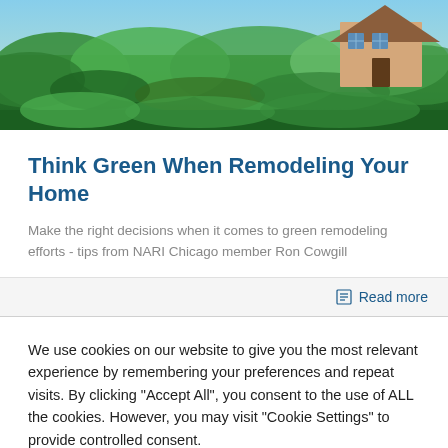[Figure (photo): Hero image showing lush green garden/nature scene with a small wooden house in the background]
Think Green When Remodeling Your Home
Make the right decisions when it comes to green remodeling efforts - tips from NARI Chicago member Ron Cowgill
Read more
We use cookies on our website to give you the most relevant experience by remembering your preferences and repeat visits. By clicking "Accept All", you consent to the use of ALL the cookies. However, you may visit "Cookie Settings" to provide controlled consent.
Cookie Settings
Accept All